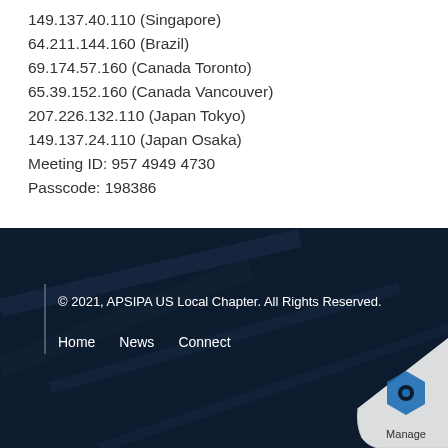149.137.40.110 (Singapore)
64.211.144.160 (Brazil)
69.174.57.160 (Canada Toronto)
65.39.152.160 (Canada Vancouver)
207.226.132.110 (Japan Tokyo)
149.137.24.110 (Japan Osaka)
Meeting ID: 957 4949 4730
Passcode: 198386
© 2021, APSIPA US Local Chapter. All Rights Reserved.
Home   News   Connect